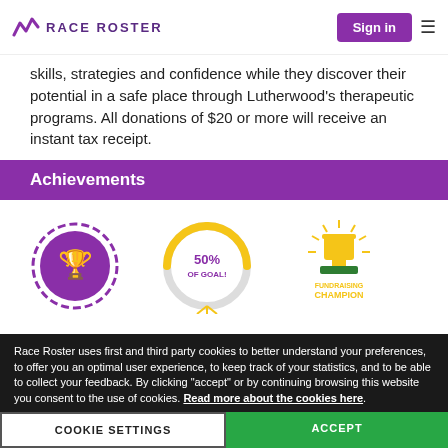RACE ROSTER | Sign in
skills, strategies and confidence while they discover their potential in a safe place through Lutherwood's therapeutic programs. All donations of $20 or more will receive an instant tax receipt.
Achievements
[Figure (illustration): Three achievement badges: a medal with hands holding a trophy and '1', a '50% OF GOAL!' circular badge half-filled yellow, and a 'FUNDRAISING CHAMPION' trophy badge in gold and green]
Race Roster uses first and third party cookies to better understand your preferences, to offer you an optimal user experience, to keep track of your statistics, and to be able to collect your feedback. By clicking "accept" or by continuing browsing this website you consent to the use of cookies. Read more about the cookies here.